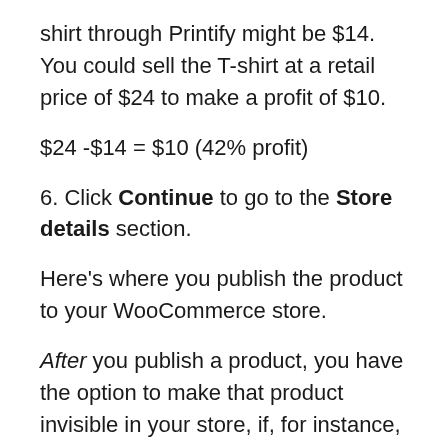shirt through Printify might be $14. You could sell the T-shirt at a retail price of $24 to make a profit of $10.
6. Click Continue to go to the Store details section.
Here's where you publish the product to your WooCommerce store.
After you publish a product, you have the option to make that product invisible in your store, if, for instance, it's temporarily out of stock or for some reason you're not ready to sell it yet. Just go to My stores and select your store name to get